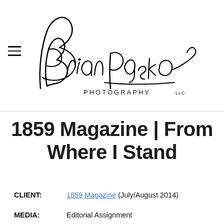[Figure (logo): Brian Pasko Photography LLC signature logo in cursive script with hamburger menu icon on the left]
1859 Magazine | From Where I Stand
CLIENT: 1859 Magazine (July/August 2014)
MEDIA: Editorial Assignment